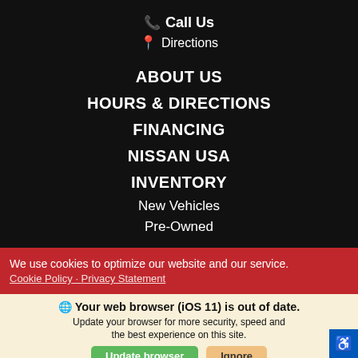Call Us
Directions
ABOUT US
HOURS & DIRECTIONS
FINANCING
NISSAN USA
INVENTORY
New Vehicles
Pre-Owned
We use cookies to optimize our website and our service.
Cookie Policy · Privacy Statement
Your web browser (iOS 11) is out of date. Update your browser for more security, speed and the best experience on this site.
Update browser
Ignore